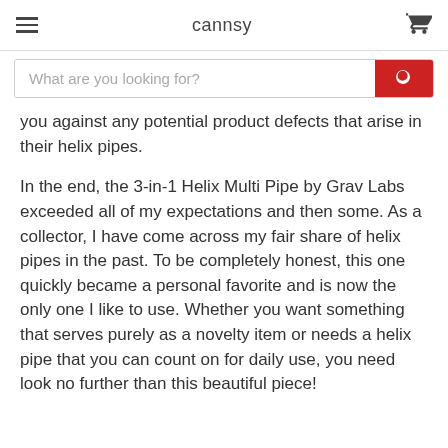cannsy
you against any potential product defects that arise in their helix pipes.
In the end, the 3-in-1 Helix Multi Pipe by Grav Labs exceeded all of my expectations and then some. As a collector, I have come across my fair share of helix pipes in the past. To be completely honest, this one quickly became a personal favorite and is now the only one I like to use. Whether you want something that serves purely as a novelty item or needs a helix pipe that you can count on for daily use, you need look no further than this beautiful piece!